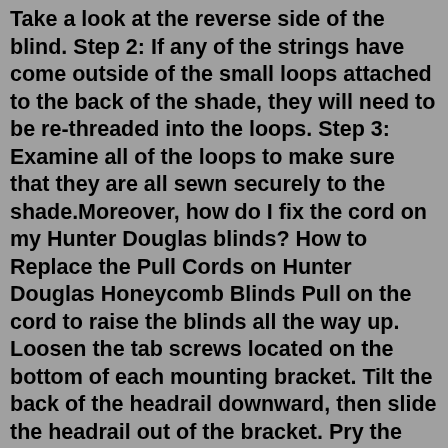Take a look at the reverse side of the blind. Step 2: If any of the strings have come outside of the small loops attached to the back of the shade, they will need to be re-threaded into the loops. Step 3: Examine all of the loops to make sure that they are all sewn securely to the shade.Moreover, how do I fix the cord on my Hunter Douglas blinds? How to Replace the Pull Cords on Hunter Douglas Honeycomb Blinds Pull on the cord to raise the blinds all the way up. Loosen the tab screws located on the bottom of each mounting bracket. Tilt the back of the headrail downward, then slide the headrail out of the bracket. Pry the cord ...To fix this, make sure the 2 (or more) lift cords all have the same tension, and are all at the same level. For continuous cord loop, make sure the "c" clips are even to each other. You will see these attached to a long rod that runs from one end of the head rail to the other. The cord loop on my cellular shades is frayed.Do not pull or tug your cordless blinds on either end when they seem uneven, as they will make the shades more uneven. If they become